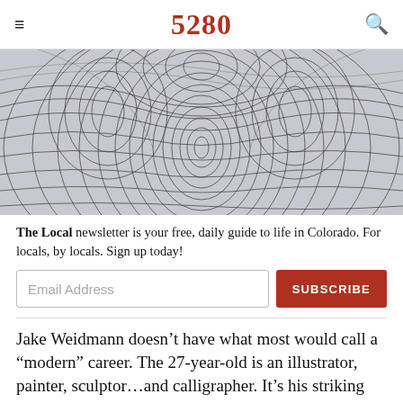5280
[Figure (illustration): Abstract black and white swirling topographic/fingerprint-like pattern forming a face-like symmetrical design]
The Local newsletter is your free, daily guide to life in Colorado. For locals, by locals. Sign up today!
Jake Weidmann doesn’t have what most would call a “modern” career. The 27-year-old is an illustrator, painter, sculptor…and calligrapher. It’s his striking